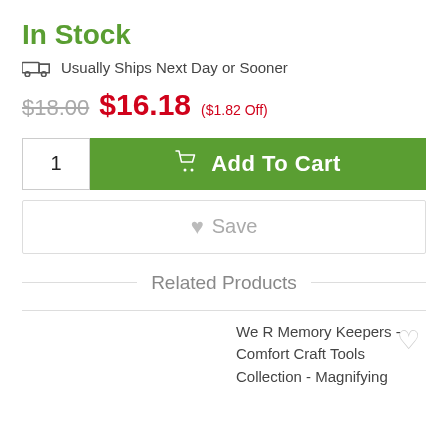In Stock
Usually Ships Next Day or Sooner
$18.00  $16.18  ($1.82 Off)
1   Add To Cart
Save
Related Products
We R Memory Keepers - Comfort Craft Tools Collection - Magnifying